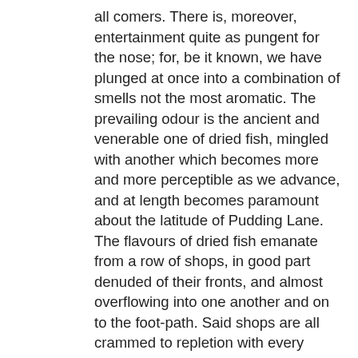all comers. There is, moreover, entertainment quite as pungent for the nose; for, be it known, we have plunged at once into a combination of smells not the most aromatic. The prevailing odour is the ancient and venerable one of dried fish, mingled with another which becomes more and more perceptible as we advance, and at length becomes paramount about the latitude of Pudding Lane. The flavours of dried fish emanate from a row of shops, in good part denuded of their fronts, and almost overflowing into one another and on to the foot-path. Said shops are all crammed to repletion with every imaginable specimen of dried, smoked, and salted members of the finny tribe.
	There are dried cod and salmon, dried haddocks and mackarel; herrings red and white, smoked and salted; sprats by the million in the same state; pilchards in pickle, and oysters in ditto ; anchovies, sardines, camplins, and other unfamiliar specimens from the Mediterranean; and a vast selection besides, which we have not